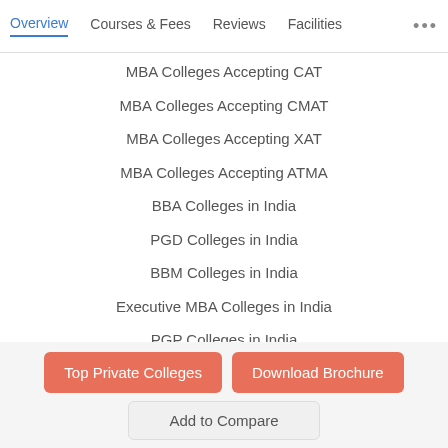Overview  Courses & Fees  Reviews  Facilities  ...
MBA Colleges Accepting CAT
MBA Colleges Accepting CMAT
MBA Colleges Accepting XAT
MBA Colleges Accepting ATMA
BBA Colleges in India
PGD Colleges in India
BBM Colleges in India
Executive MBA Colleges in India
PGP Colleges in India
General Management Colleges in India
Finance Management Colleges in India
Human Resource Management Colleges in India
Marketing Management Colleges in India
Top Private Colleges  Download Brochure  Add to Compare